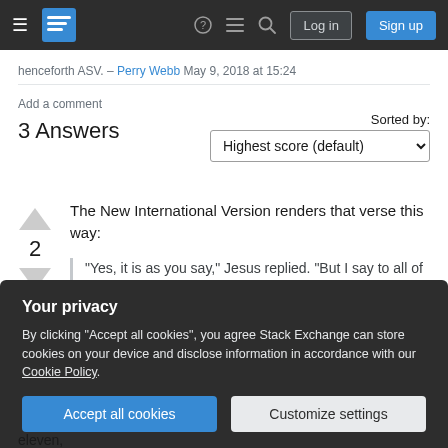Stack Exchange navigation bar with Log in and Sign up buttons
henceforth ASV. – Perry Webb May 9, 2018 at 15:24
Add a comment
3 Answers
Sorted by: Highest score (default)
The New International Version renders that verse this way:
"Yes, it is as you say," Jesus replied. "But I say to all of you: In the future you will see the Son
Your privacy
By clicking "Accept all cookies", you agree Stack Exchange can store cookies on your device and disclose information in accordance with our Cookie Policy.
Accept all cookies   Customize settings
eleven,